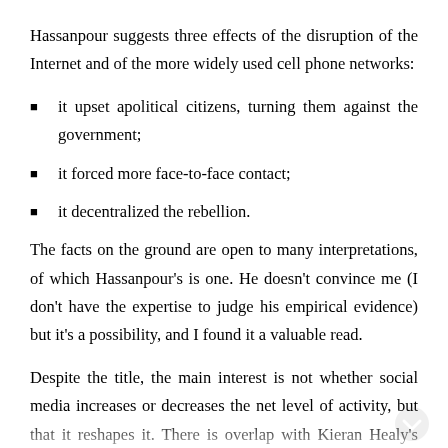Hassanpour suggests three effects of the disruption of the Internet and of the more widely used cell phone networks:
it upset apolitical citizens, turning them against the government;
it forced more face-to-face contact;
it decentralized the rebellion.
The facts on the ground are open to many interpretations, of which Hassanpour's is one. He doesn't convince me (I don't have the expertise to judge his empirical evidence) but it's a possibility, and I found it a valuable read.
Despite the title, the main interest is not whether social media increases or decreases the net level of activity, but that it reshapes it. There is overlap with Kieran Healy's just-posted work in progress, The Performativity of Networks, [link] where